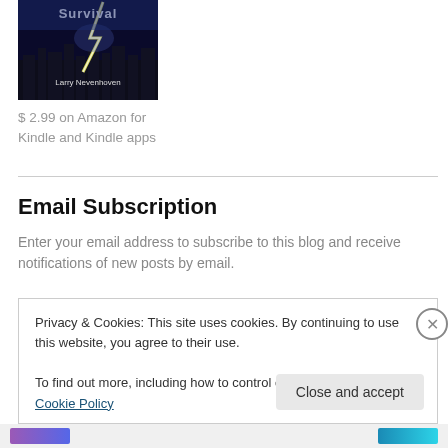[Figure (illustration): Book cover showing city at night with lightning bolt, title 'Survival' and author 'Larry Nevenhoven']
$ 2.99 on Amazon for Kindle and Kindle apps
Email Subscription
Enter your email address to subscribe to this blog and receive notifications of new posts by email.
Privacy & Cookies: This site uses cookies. By continuing to use this website, you agree to their use.
To find out more, including how to control cookies, see here: Cookie Policy
Close and accept